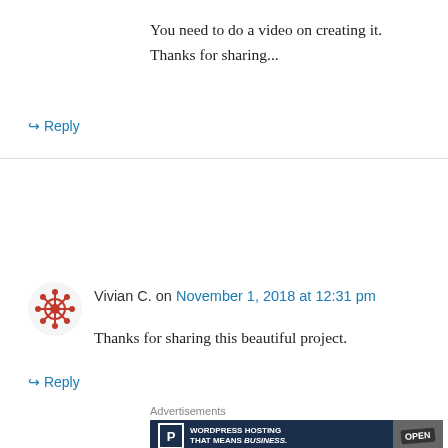You need to do a video on creating it.
Thanks for sharing...
↪ Reply
Vivian C. on November 1, 2018 at 12:31 pm
Thanks for sharing this beautiful project.
↪ Reply
[Figure (screenshot): WordPress.com advertisement banner: 'WORDPRESS HOSTING THAT MEANS BUSINESS.' with a P logo and an OPEN sign photo]
Karthikha Uday on November 1, 2018 at 12:35 pm
Oooh the envelope book is awesome!! Creative